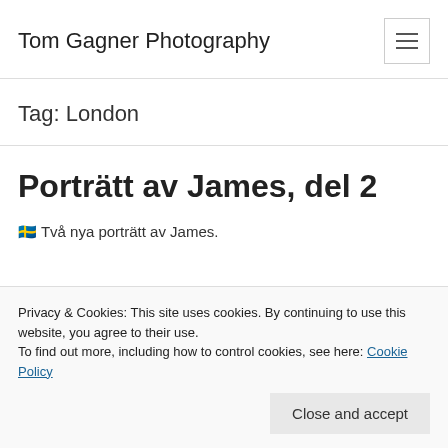Tom Gagner Photography
Tag: London
Porträtt av James, del 2
🇸🇪 Två nya porträtt av James.
Privacy & Cookies: This site uses cookies. By continuing to use this website, you agree to their use.
To find out more, including how to control cookies, see here: Cookie Policy
Close and accept